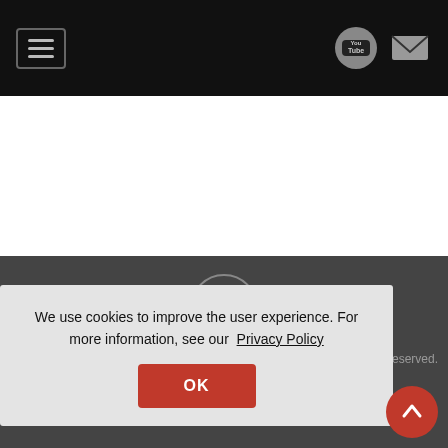Navigation bar with hamburger menu, YouTube icon, and mail icon
[Figure (logo): YouTube circle logo icon centered in dark grey area]
Guaranteed Heating & Cooling
Call Now
We use cookies to improve the user experience. For more information, see our Privacy Policy
OK
reserved.